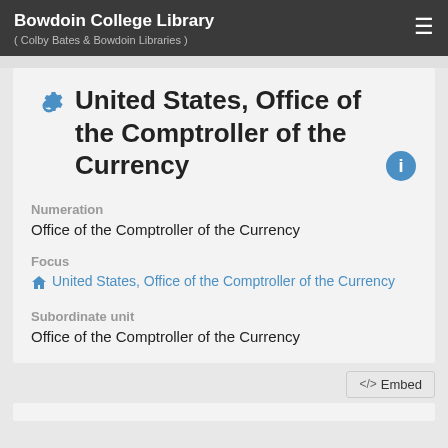Bowdoin College Library ( Colby Bates & Bowdoin Libraries )
United States, Office of the Comptroller of the Currency
Numeration
Office of the Comptroller of the Currency
Focus
United States, Office of the Comptroller of the Currency
Subordinate unit
Office of the Comptroller of the Currency